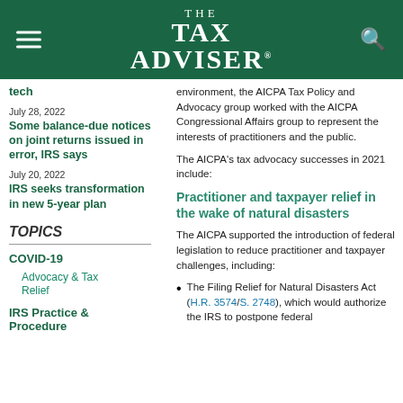THE TAX ADVISER
tech
July 28, 2022
Some balance-due notices on joint returns issued in error, IRS says
July 20, 2022
IRS seeks transformation in new 5-year plan
TOPICS
COVID-19
Advocacy & Tax Relief
IRS Practice & Procedure
environment, the AICPA Tax Policy and Advocacy group worked with the AICPA Congressional Affairs group to represent the interests of practitioners and the public.
The AICPA's tax advocacy successes in 2021 include:
Practitioner and taxpayer relief in the wake of natural disasters
The AICPA supported the introduction of federal legislation to reduce practitioner and taxpayer challenges, including:
The Filing Relief for Natural Disasters Act (H.R. 3574/S. 2748), which would authorize the IRS to postpone federal